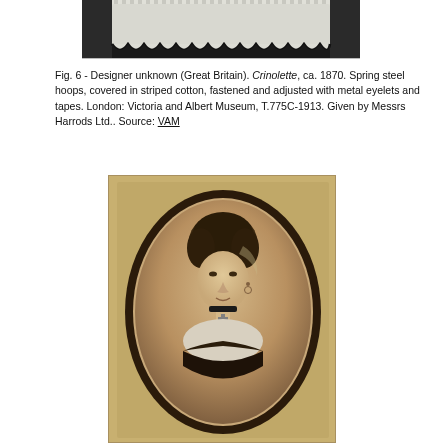[Figure (photo): Partial view of a crinolette garment — spring steel hoops covered in striped cotton with scalloped/serrated black edge trim, shown against a dark background. Only the upper portion is visible, cropped.]
Fig. 6 - Designer unknown (Great Britain). Crinolette, ca. 1870. Spring steel hoops, covered in striped cotton, fastened and adjusted with metal eyelets and tapes. London: Victoria and Albert Museum, T.775C-1913. Given by Messrs Harrods Ltd.. Source: VAM
[Figure (photo): Sepia-toned carte-de-visite photograph of a Victorian-era woman in bust portrait, set within an oval vignette frame on a card mount. The woman has upswept hair, drop earrings, a choker necklace with a cross pendant, and a dark dress with light collar/shoulders.]